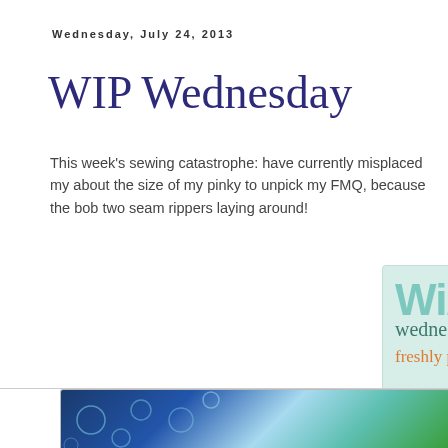Wednesday, July 24, 2013
WIP Wednesday
This week's sewing catastrophe: have currently misplaced my about the size of my pinky to unpick my FMQ, because the bob two seam rippers laying around!
[Figure (logo): WIP Wednesday badge with teal background showing 'WIP', 'wedne' in script, and 'freshly p' in orange script]
[Figure (photo): Partial photo of fabric with navy blue and teal polka dot pattern and green patterned fabric]